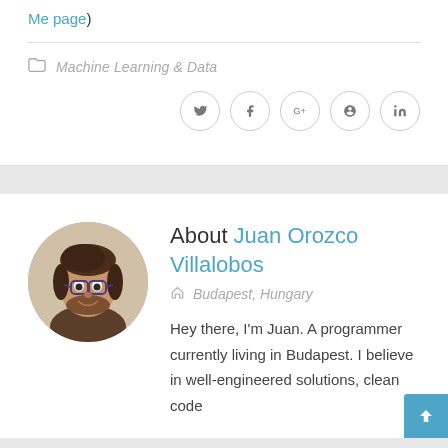Me page)
Machine Learning & Data
[Figure (infographic): Social sharing icons: Twitter, Facebook, Google+, Pinterest, LinkedIn — each in a circle]
[Figure (photo): Circular profile photo of Juan Orozco Villalobos, a man with glasses and a beard, smiling]
About Juan Orozco Villalobos
Budapest, Hungary
Hey there, I'm Juan. A programmer currently living in Budapest. I believe in well-engineered solutions, clean code